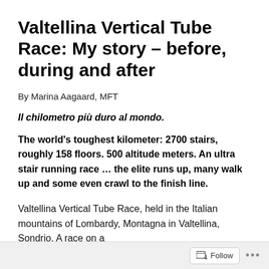Valtellina Vertical Tube Race: My story – before, during and after
By Marina Aagaard, MFT
Il chilometro più duro al mondo.
The world's toughest kilometer: 2700 stairs, roughly 158 floors. 500 altitude meters. An ultra stair running race … the elite runs up, many walk up and some even crawl to the finish line.
Valtellina Vertical Tube Race, held in the Italian mountains of Lombardy, Montagna in Valtellina, Sondrio. A race on a
Follow